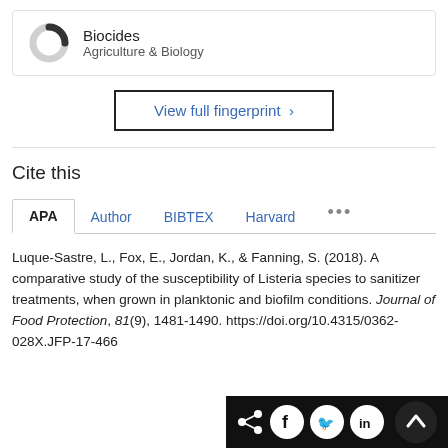[Figure (infographic): Donut/ring chart icon partially filled in dark, labeled 'Biocides' with subtitle 'Agriculture & Biology']
View full fingerprint >
Cite this
APA | Author | BIBTEX | Harvard | ...
Luque-Sastre, L., Fox, E., Jordan, K., & Fanning, S. (2018). A comparative study of the susceptibility of Listeria species to sanitizer treatments, when grown in planktonic and biofilm conditions. Journal of Food Protection, 81(9), 1481-1490. https://doi.org/10.4315/0362-028X.JFP-17-466